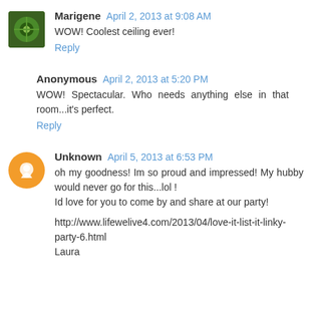Marigene April 2, 2013 at 9:08 AM
WOW! Coolest ceiling ever!
Reply
Anonymous April 2, 2013 at 5:20 PM
WOW! Spectacular. Who needs anything else in that room...it's perfect.
Reply
Unknown April 5, 2013 at 6:53 PM
oh my goodness! Im so proud and impressed! My hubby would never go for this...lol !
Id love for you to come by and share at our party!

http://www.lifewelive4.com/2013/04/love-it-list-it-linky-party-6.html
Laura